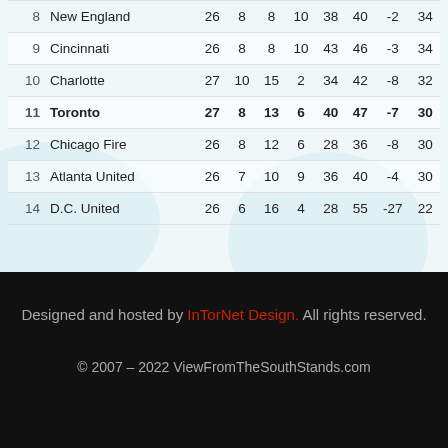| # | Team | GP | W | L | D | GF | GA | GD | Pts |
| --- | --- | --- | --- | --- | --- | --- | --- | --- | --- |
| 8 | New England | 26 | 8 | 8 | 10 | 38 | 40 | -2 | 34 |
| 9 | Cincinnati | 26 | 8 | 8 | 10 | 43 | 46 | -3 | 34 |
| 10 | Charlotte | 27 | 10 | 15 | 2 | 34 | 42 | -8 | 32 |
| 11 | Toronto | 27 | 8 | 13 | 6 | 40 | 47 | -7 | 30 |
| 12 | Chicago Fire | 26 | 8 | 12 | 6 | 28 | 36 | -8 | 30 |
| 13 | Atlanta United | 26 | 7 | 10 | 9 | 36 | 40 | -4 | 30 |
| 14 | D.C. United | 26 | 6 | 16 | 4 | 28 | 55 | -27 | 22 |
Designed and hosted by InTorNet Design. All rights reserved.
© 2007 – 2022 ViewFromTheSouthStands.com